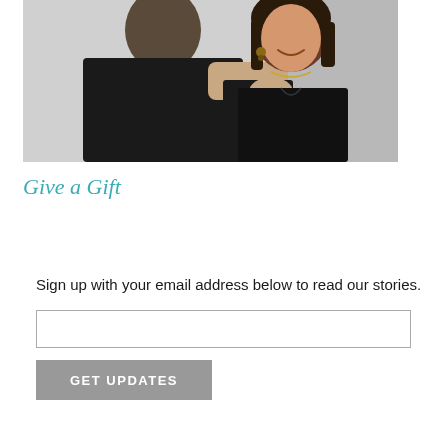[Figure (photo): A couple posing together, both wearing black. A man stands behind a woman, with his hand on her shoulder. The woman has dark hair and is smiling, wearing earrings and a necklace. Background appears to be a light-colored wall.]
Give a Gift
Sign up with your email address below to read our stories.